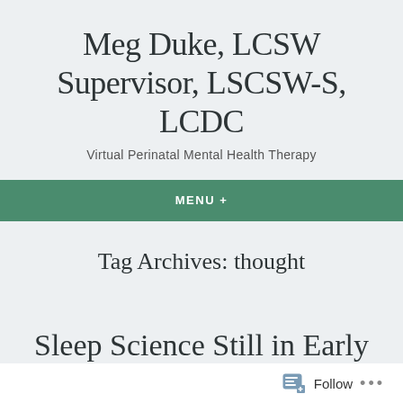Meg Duke, LCSW Supervisor, LSCSW-S, LCDC
Virtual Perinatal Mental Health Therapy
MENU +
Tag Archives: thought
Sleep Science Still in Early Stages
Follow ...